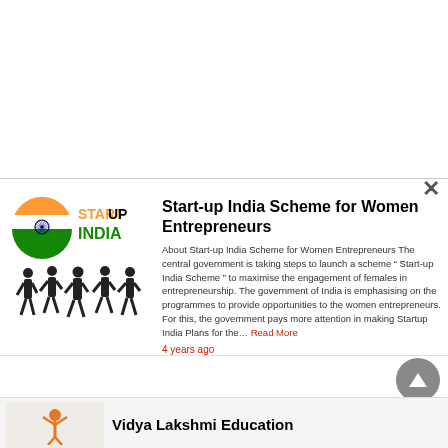[Figure (logo): Startup India logo with Indian flag circle and text START UP INDIA]
[Figure (illustration): Silhouettes of women walking in professional attire]
Start-up India Scheme for Women Entrepreneurs
About Start-up India Scheme for Women Entrepreneurs The central government is taking steps to launch a scheme “ Start-up India Scheme ” to maximise the engagement of females in entrepreneurship. The government of India is emphasising on the programmes to provide opportunities to the women entrepreneurs. For this, the government pays more attention in making Startup India Plans for the… Read More
4 years ago
Vidya Lakshmi Education